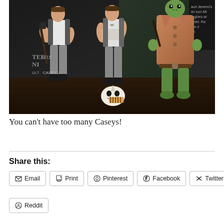[Figure (photo): Action figures of Casey Jones characters from Teenage Mutant Ninja Turtles, displayed together. Multiple versions of Casey Jones figure in gray pants and white shirts holding weapons, alongside a turtle figure in a brown coat. A white Casey Jones hockey mask lies on the floor between them. Text on backdrop partially reads 'CASEY J'.]
You can't have too many Caseys!
Share this:
Email
Print
Pinterest
Facebook
Twitter
Reddit